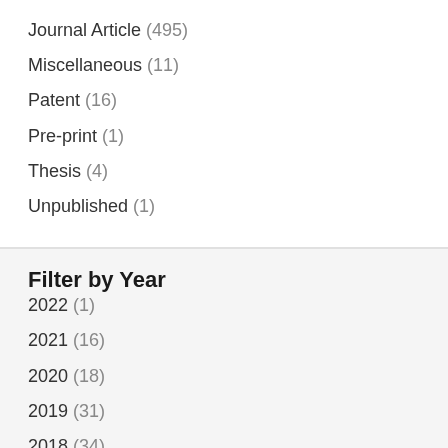Journal Article (495)
Miscellaneous (11)
Patent (16)
Pre-print (1)
Thesis (4)
Unpublished (1)
Filter by Year
2022 (1)
2021 (16)
2020 (18)
2019 (31)
2018 (34)
2017 (46)